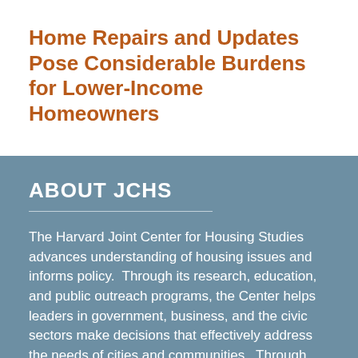Home Repairs and Updates Pose Considerable Burdens for Lower-Income Homeowners
ABOUT JCHS
The Harvard Joint Center for Housing Studies advances understanding of housing issues and informs policy. Through its research, education, and public outreach programs, the Center helps leaders in government, business, and the civic sectors make decisions that effectively address the needs of cities and communities. Through graduate and executive courses, as well as fellowships and internship opportunities, the Center